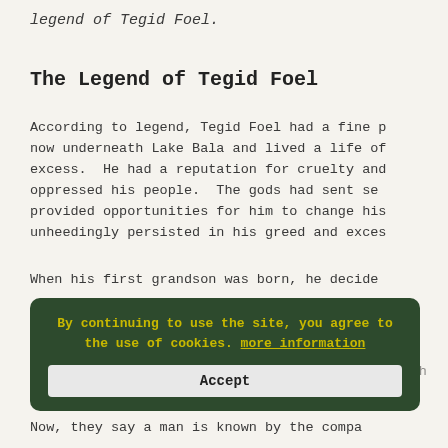legend of Tegid Foel.
The Legend of Tegid Foel
According to legend, Tegid Foel had a fine p now underneath Lake Bala and lived a life of excess. He had a reputation for cruelty and oppressed his people. The gods had sent se provided opportunities for him to change his unheedingly persisted in his greed and exces
When his first grandson was born, he decided celebrate the birth with a lavish feast. He s all the important princes in Wales and beyon of his family to the banquet at h
By continuing to use the site, you agree to the use of cookies. more information
Accept
Now, they say a man is known by the compa